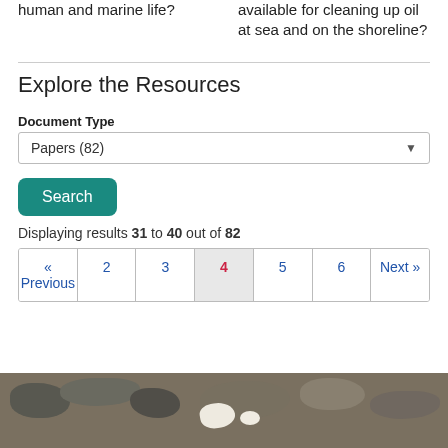are the potential effects on human and marine life?
What techniques are available for cleaning up oil at sea and on the shoreline?
Explore the Resources
Document Type
Papers (82)
Search
Displaying results 31 to 40 out of 82
« Previous  2  3  4  5  6  Next »
[Figure (photo): Rocky shoreline with debris, showing rocks and a white object on the shore, related to oil spill cleanup context]